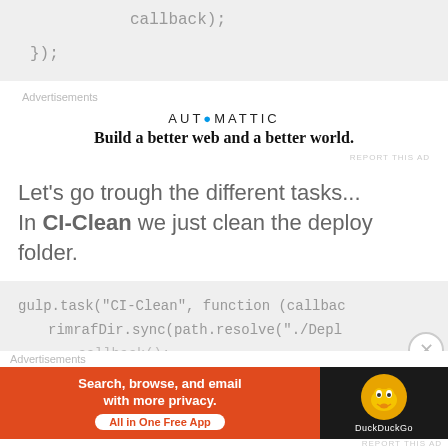[Figure (screenshot): Code block showing: callback); followed by });]
Advertisements
[Figure (screenshot): Automattic advertisement: AUTOMATTIC logo with Build a better web and a better world.]
REPORT THIS AD
Let's go trough the different tasks... In CI-Clean we just clean the deploy folder.
[Figure (screenshot): Code block showing: gulp.task("CI-Clean", function (callbac rimrafDir.sync(path.resolve("./Depl ...callback();]
Advertisements
[Figure (screenshot): DuckDuckGo advertisement banner: Search, browse, and email with more privacy. All in One Free App]